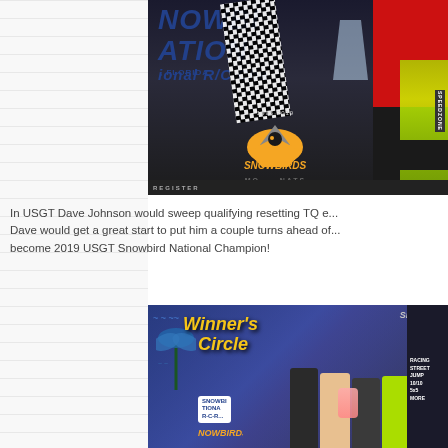[Figure (photo): Photo of a person in a checkered racing jacket holding a trophy at the Snowbirds Nationals RC Championship event in Florida, with the Snowbirds 25 years (1995-2019) logo visible on a banner behind them.]
In USGT Dave Johnson would sweep qualifying resetting TQ e... Dave would get a great start to put him a couple turns ahead of... become 2019 USGT Snowbird National Champion!
[Figure (photo): Photo of people posing in the Winner's Circle at the Snowbirds Nationals event, with a Winner's Circle banner visible and Snowbirds Nationals RC branding in the background.]